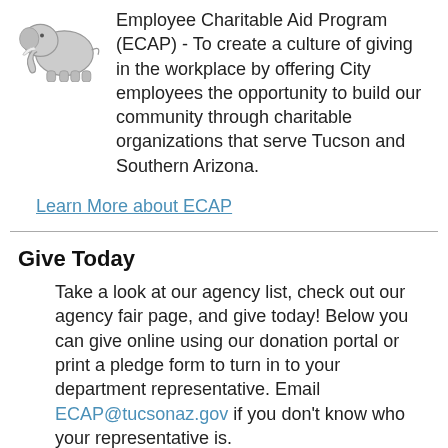Employee Charitable Aid Program (ECAP) - To create a culture of giving in the workplace by offering City employees the opportunity to build our community through charitable organizations that serve Tucson and Southern Arizona.
Learn More about ECAP
Give Today
Take a look at our agency list, check out our agency fair page, and give today! Below you can give online using our donation portal or print a pledge form to turn in to your department representative. Email ECAP@tucsonaz.gov if you don't know who your representative is.